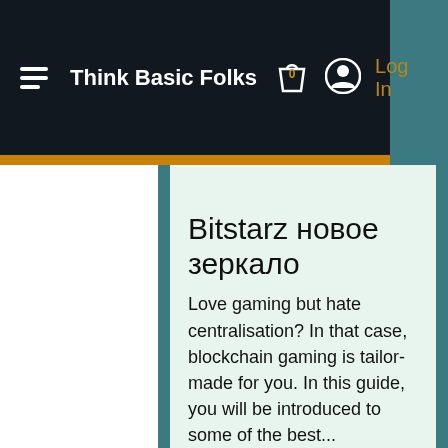Think Basic Folks  Log In
Bitstarz новое зеркало
Love gaming but hate centralisation? In that case, blockchain gaming is tailor-made for you. In this guide, you will be introduced to some of the best...